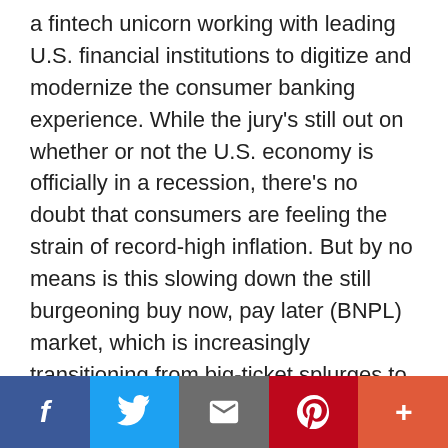a fintech unicorn working with leading U.S. financial institutions to digitize and modernize the consumer banking experience. While the jury's still out on whether or not the U.S. economy is officially in a recession, there's no doubt that consumers are feeling the strain of record-high inflation. But by no means is this slowing down the still burgeoning buy now, pay later (BNPL) market, which is increasingly transitioning from big-ticket splurges to more everyday purchases , today easing the pain at the gas pump and the grocery store. Yet with consumer adoption rising, so, too, is BNPL scrutiny by regulators in Washington, D.C. Late last year, the Consumer Financial Protection Bureau (CFPB)
[social share bar: Facebook, Twitter, Email, Pinterest, More]